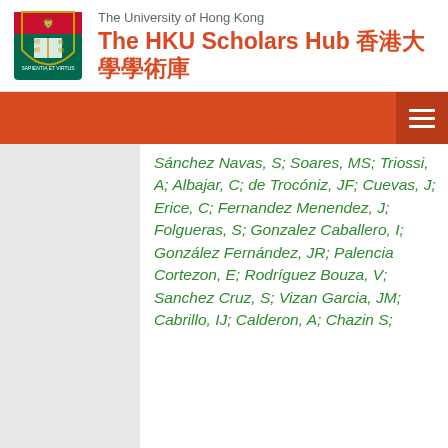The University of Hong Kong — The HKU Scholars Hub 香港大學學術庫
Sánchez Navas, S; Soares, MS; Triossi, A; Albajar, C; de Trocóniz, JF; Cuevas, J; Erice, C; Fernandez Menendez, J; Folgueras, S; Gonzalez Caballero, I; González Fernández, JR; Palencia Cortezon, E; Rodríguez Bouza, V; Sanchez Cruz, S; Vizan Garcia, JM; Cabrillo, IJ; Calderon, A; Chazin S; ...